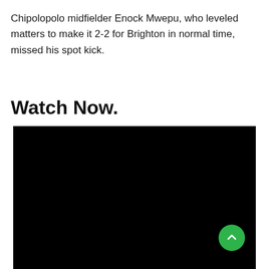Chipolopolo midfielder Enock Mwepu, who leveled matters to make it 2-2 for Brighton in normal time, missed his spot kick.
Watch Now.
[Figure (other): Black video player embed area, nearly full width, occupying the lower portion of the page. A green circular scroll-to-top button is visible in the bottom-right corner of the video area.]